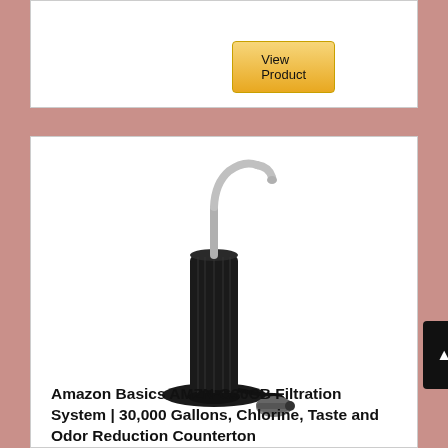[Figure (screenshot): View Product button with golden yellow background]
[Figure (photo): Amazon Basics AMZN-G30CB countertop water filtration system with black cylindrical filter body and chrome curved faucet]
Amazon Basics AMZN-G30CB Filtration System | 30,000 Gallons, Chlorine, Taste and Odor Reduction Counterton